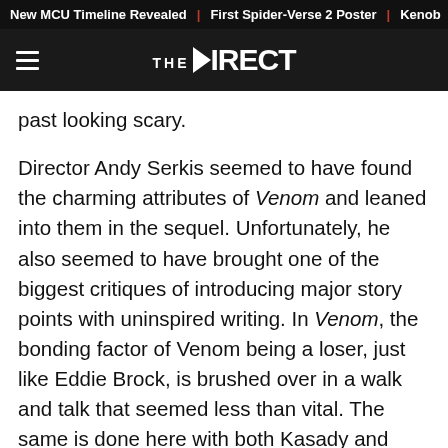New MCU Timeline Revealed | First Spider-Verse 2 Poster | Kenob
THE DIRECT
past looking scary.
Director Andy Serkis seemed to have found the charming attributes of Venom and leaned into them in the sequel. Unfortunately, he also seemed to have brought one of the biggest critiques of introducing major story points with uninspired writing. In Venom, the bonding factor of Venom being a loser, just like Eddie Brock, is brushed over in a walk and talk that seemed less than vital. The same is done here with both Kasady and Carnage's motivation to go after their respective foils.